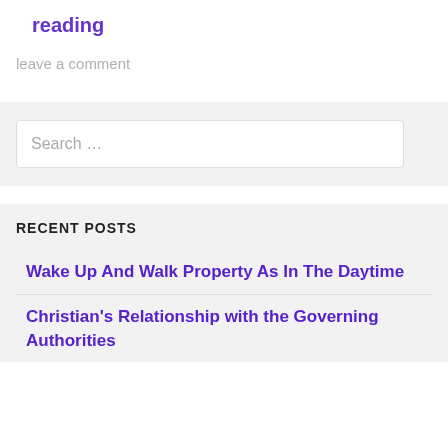reading
leave a comment
Search …
RECENT POSTS
Wake Up And Walk Property As In The Daytime
Christian's Relationship with the Governing Authorities